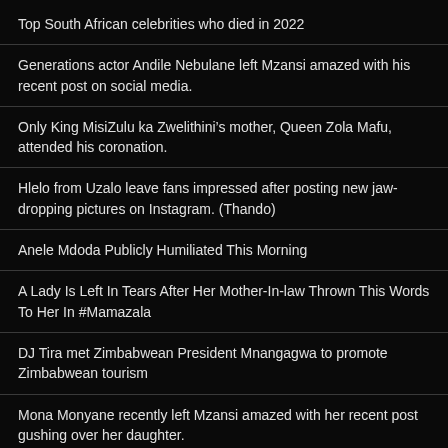Top South African celebrities who died in 2022
Generations actor Andile Nebulane left Mzansi amazed with his recent post on social media.
Only King MisiZulu ka Zwelithini’s mother, Queen Zola Mafu, attended his coronation.
Hlelo from Uzalo leave fans impressed after posting new jaw-dropping pictures on Instagram. (Thando)
Anele Mdoda Publicly Humiliated This Morning
A Lady Is Left In Tears After Her Mother-In-law Thrown This Words To Her In #Mamazala
DJ Tira met Zimbabwean President Mnangagwa to promote Zimbabwean tourism
Mona Monyane recently left Mzansi amazed with her recent post gushing over her daughter.
MphoWaBadimo versus Nale Mogadime: Battle of the green outfits